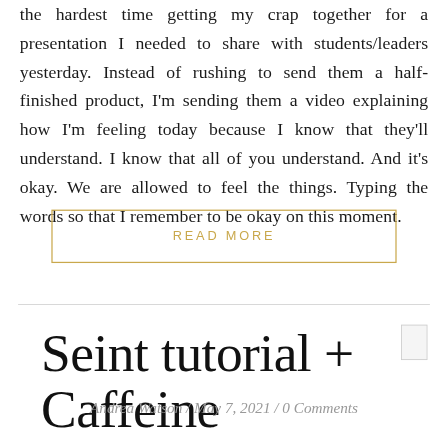the hardest time getting my crap together for a presentation I needed to share with students/leaders yesterday. Instead of rushing to send them a half-finished product, I'm sending them a video explaining how I'm feeling today because I know that they'll understand. I know that all of you understand. And it's okay. We are allowed to feel the things. Typing the words so that I remember to be okay on this moment.
READ MORE
Seint tutorial + Caffeine
Andrea Watson / May 7, 2021 / 0 Comments